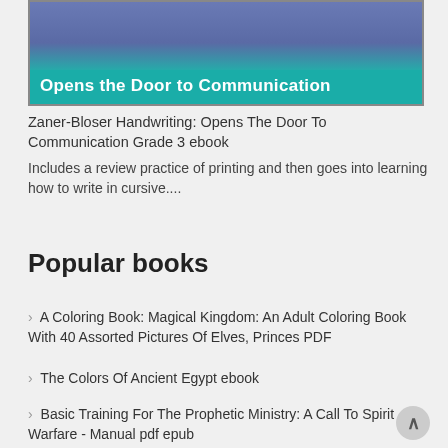[Figure (illustration): Book cover image for Zaner-Bloser Handwriting with teal banner reading 'Opens the Door to Communication']
Zaner-Bloser Handwriting: Opens The Door To Communication Grade 3 ebook
Includes a review practice of printing and then goes into learning how to write in cursive....
Popular books
> A Coloring Book: Magical Kingdom: An Adult Coloring Book With 40 Assorted Pictures Of Elves, Princes PDF
> The Colors Of Ancient Egypt ebook
> Basic Training For The Prophetic Ministry: A Call To Spirit Warfare - Manual pdf epub